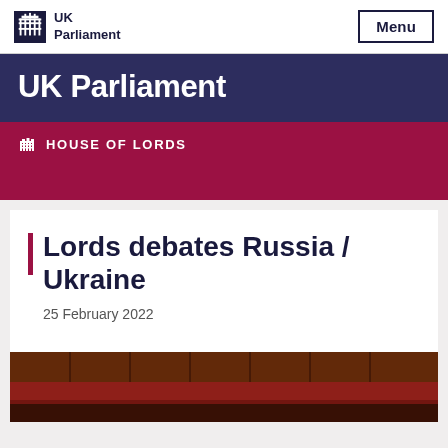UK Parliament | Menu
UK Parliament
HOUSE OF LORDS
Lords debates Russia / Ukraine
25 February 2022
[Figure (photo): Interior photo of the House of Lords chamber showing red benches and ornate wooden fittings]